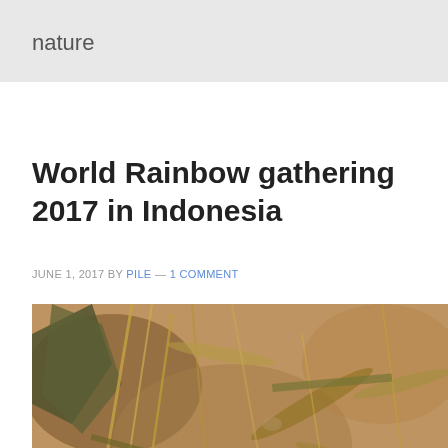nature
World Rainbow gathering 2017 in Indonesia
JUNE 1, 2017 BY PILE — 1 COMMENT
[Figure (photo): Close-up photograph of dry earth and dried vegetation/grass/leaves scattered on the ground, appearing arid and natural]